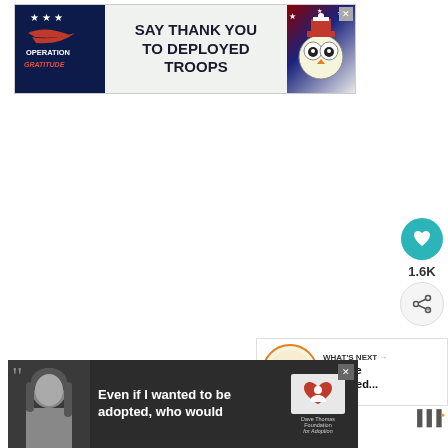[Figure (screenshot): Operation Gratitude banner ad: logo on left with stars and red text, center text 'SAY THANK YOU TO DEPLOYED TROOPS', patriotic owl illustration on right with American flag elements. Close X button top right.]
[Figure (screenshot): Heart/like button (teal circular button with white heart icon) with count '1.6K' below it, and share button below that (white circular button with share icon).]
1.6K
[Figure (screenshot): What's Next card showing thumbnail of orange flavored dish with label 'WHAT'S NEXT →' and title 'Orange Flavored...']
[Figure (screenshot): Dave Thomas Foundation for Adoption banner ad: dark background, woman with long dark hair on left, large quote marks, text 'Even if I wanted to be adopted, who would', Dave Thomas Foundation for Adoption logo in center, WW logo on right. Close X button top right.]